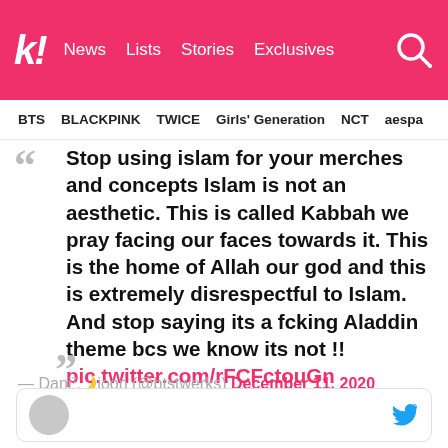k! News Lists Stories Exclusives
BTS BLACKPINK TWICE Girls' Generation NCT aespa
Stop using islam for your merches and concepts Islam is not an aesthetic. This is called Kabbah we pray facing our faces towards it. This is the home of Allah our god and this is extremely disrespectful to Islam. And stop saying its a fcking Aladdin theme bcs we know its not !! pic.twitter.com/rFCFctouGn
— Dani⁷🌙joon (@btstwerks) December 11, 2020